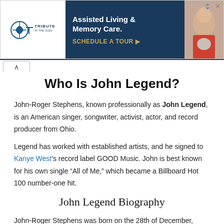[Figure (other): Advertisement banner for Tribute at the Glen assisted living - dark blue background with text 'Assisted Living & Memory Care. SCHEDULE A TOUR' and photo of elderly woman with dog]
Who Is John Legend?
John-Roger Stephens, known professionally as John Legend, is an American singer, songwriter, activist, actor, and record producer from Ohio.
Legend has worked with established artists, and he signed to Kanye West's record label GOOD Music. John is best known for his own single “All of Me,” which became a Billboard Hot 100 number-one hit.
John Legend Biography
John-Roger Stephens was born on the 28th of December, 1978, in Springfield, Ohio. John Legend is the son of Ronald Lemon...